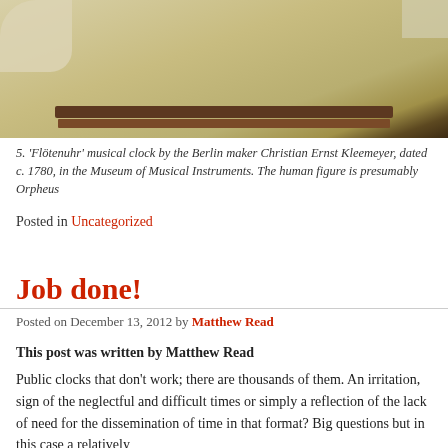[Figure (photo): Partial view of a 'Flötenuhr' musical clock by Berlin maker Christian Ernst Kleemeyer, showing a wooden shelf/base structure against a yellowish-green background]
5. 'Flötenuhr' musical clock by the Berlin maker Christian Ernst Kleemeyer, dated c. 1780, in the Museum of Musical Instruments. The human figure is presumably Orpheus
Posted in Uncategorized
Job done!
Posted on December 13, 2012 by Matthew Read
This post was written by Matthew Read
Public clocks that don't work; there are thousands of them. An irritation, sign of the neglectful and difficult times or simply a reflection of the lack of need for the dissemination of time in that format? Big questions but in this case a relatively